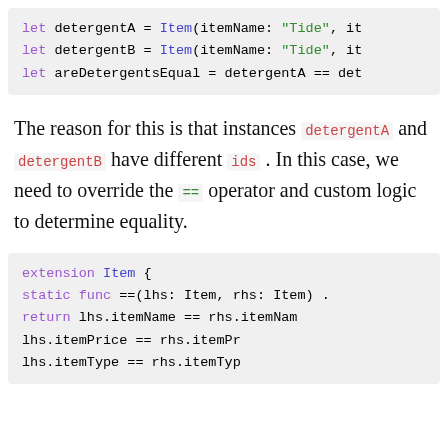[Figure (screenshot): Swift code block showing: let detergentA = Item(itemName: "Tide", it...
let detergentB = Item(itemName: "Tide", it...
let areDetergentsEqual = detergentA == det...]
The reason for this is that instances detergentA and detergentB have different ids . In this case, we need to override the == operator and custom logic to determine equality.
[Figure (screenshot): Swift code block showing: extension Item {
    static func ==(lhs: Item, rhs: Item) ...
        return lhs.itemName == rhs.itemNam...
               lhs.itemPrice == rhs.itemPr...
               lhs.itemType == rhs.itemTyp...]